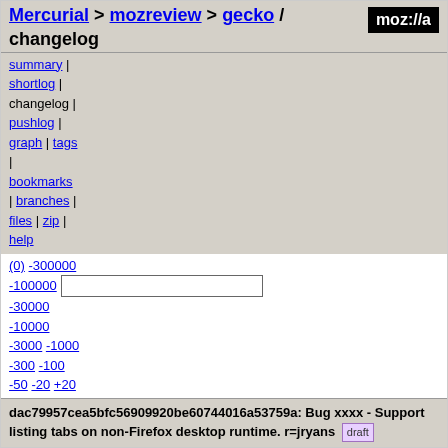Mercurial > mozreview > gecko / changelog
summary | shortlog | changelog | pushlog | graph | tags | bookmarks | branches | files | zip | help
(0) -300000 -100000 -30000 -10000 -3000 -1000 -300 -100 -50 -20 +20 +50 +100 +300 +1000 +3000 +10000 +30000 +100000 +300000 tip
dac79957cea5bfc56909920be60744016a53759a: Bug xxxx - Support listing tabs on non-Firefox desktop runtime. r=jryans draft